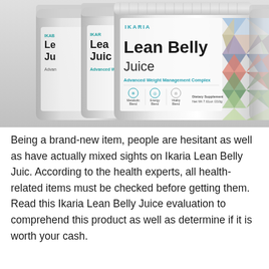[Figure (photo): Multiple white supplement jars of Ikaria Lean Belly Juice product. The front jar shows the brand name IKARIA in teal, large bold text reading 'Lean Belly Juice', subtitle 'Advanced Weight Management Complex', icons for Metabolic Blend, Energy Blend, Vitality Blend, and text 'Dietary Supplement Net Wt 7.61oz /210g'. The right side of the jars shows a triangular mosaic pattern with food/ingredient images. Two additional jars are partially visible behind the front jar.]
Being a brand-new item, people are hesitant as well as have actually mixed sights on Ikaria Lean Belly Juic. According to the health experts, all health-related items must be checked before getting them. Read this Ikaria Lean Belly Juice evaluation to comprehend this product as well as determine if it is worth your cash.